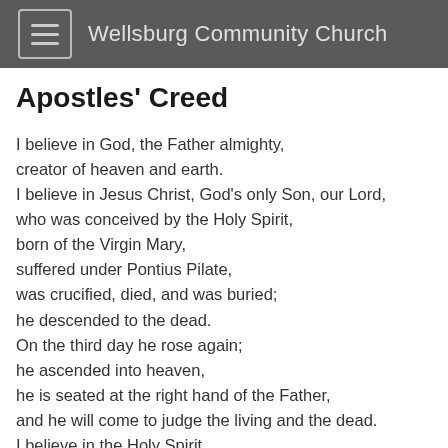Wellsburg Community Church
Apostles' Creed
I believe in God, the Father almighty,
creator of heaven and earth.
I believe in Jesus Christ, God's only Son, our Lord,
who was conceived by the Holy Spirit,
born of the Virgin Mary,
suffered under Pontius Pilate,
was crucified, died, and was buried;
he descended to the dead.
On the third day he rose again;
he ascended into heaven,
he is seated at the right hand of the Father,
and he will come to judge the living and the dead.
I believe in the Holy Spirit,
the holy catholic Church,